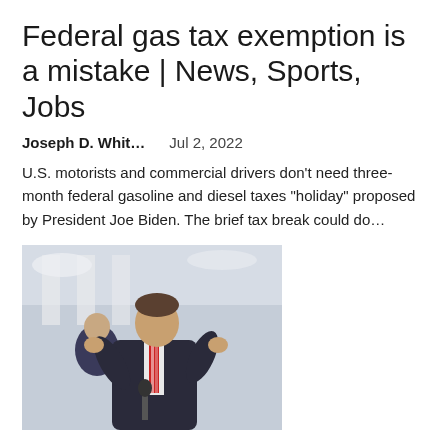Federal gas tax exemption is a mistake | News, Sports, Jobs
Joseph D. Whit...    Jul 2, 2022
U.S. motorists and commercial drivers don't need three-month federal gasoline and diesel taxes "holiday" proposed by President Joe Biden. The brief tax break could do...
[Figure (photo): A man in a dark suit and red striped tie speaking at a podium or press conference outside what appears to be a government building with columns, gesturing with his hands. Another man in a suit is visible behind him.]
Missouri AG threatens to punish areas using abortion tax